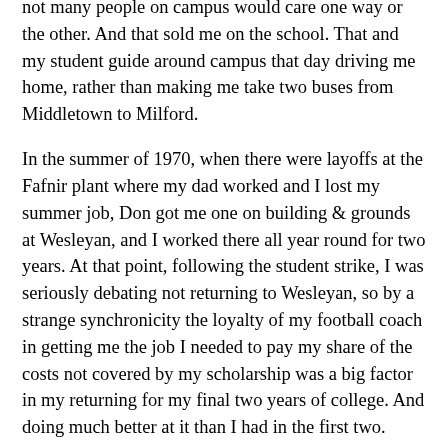not many people on campus would care one way or the other. And that sold me on the school. That and my student guide around campus that day driving me home, rather than making me take two buses from Middletown to Milford.
In the summer of 1970, when there were layoffs at the Fafnir plant where my dad worked and I lost my summer job, Don got me one on building & grounds at Wesleyan, and I worked there all year round for two years. At that point, following the student strike, I was seriously debating not returning to Wesleyan, so by a strange synchronicity the loyalty of my football coach in getting me the job I needed to pay my share of the costs not covered by my scholarship was a big factor in my returning for my final two years of college. And doing much better at it than I had in the first two.
And when in 1972 I was applying for conscientious objector status I asked Don to write a letter of reference to the draft board. He wrote that although he disagreed with my stance, he respected the way I'd made my decision, understood my grounds for it as I'd expressed them, and would support me 100% because he believed in my honesty.